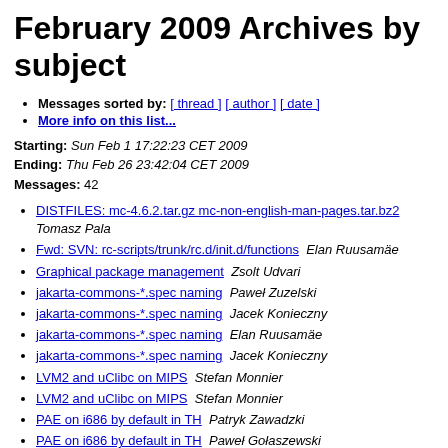February 2009 Archives by subject
Messages sorted by: [ thread ] [ author ] [ date ]
More info on this list...
Starting: Sun Feb 1 17:22:23 CET 2009
Ending: Thu Feb 26 23:42:04 CET 2009
Messages: 42
DISTFILES: mc-4.6.2.tar.gz mc-non-english-man-pages.tar.bz2   Tomasz Pala
Fwd: SVN: rc-scripts/trunk/rc.d/init.d/functions   Elan Ruusamäe
Graphical package management   Zsolt Udvari
jakarta-commons-*.spec naming   Paweł Zuzelski
jakarta-commons-*.spec naming   Jacek Konieczny
jakarta-commons-*.spec naming   Elan Ruusamäe
jakarta-commons-*.spec naming   Jacek Konieczny
LVM2 and uClibc on MIPS   Stefan Monnier
LVM2 and uClibc on MIPS   Stefan Monnier
PAE on i686 by default in TH   Patryk Zawadzki
PAE on i686 by default in TH   Paweł Gołaszewski